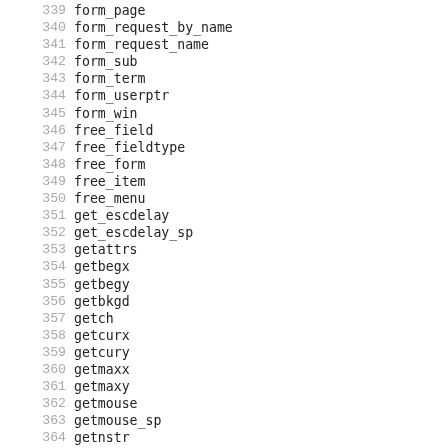339 form_page
340 form_request_by_name
341 form_request_name
342 form_sub
343 form_term
344 form_userptr
345 form_win
346 free_field
347 free_fieldtype
348 free_form
349 free_item
350 free_menu
351 get_escdelay
352 get_escdelay_sp
353 getattrs
354 getbegx
355 getbegy
356 getbkgd
357 getch
358 getcurx
359 getcury
360 getmaxx
361 getmaxy
362 getmouse
363 getmouse_sp
364 getnstr
365 getparx
366 getpary
367 getstr
368 getwin
369 getwin_sp
370 ground_panel
371 halfdelay